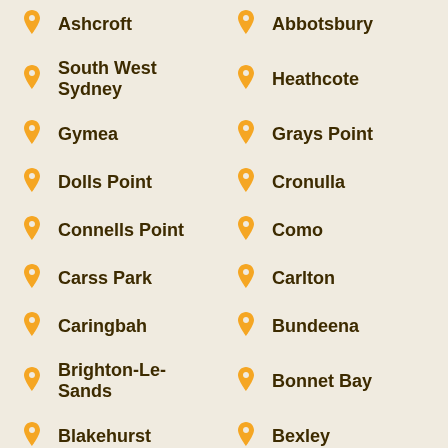Ashcroft
Abbotsbury
South West Sydney
Heathcote
Gymea
Grays Point
Dolls Point
Cronulla
Connells Point
Como
Carss Park
Carlton
Caringbah
Bundeena
Brighton-Le-Sands
Bonnet Bay
Blakehurst
Bexley
Beverly Hills
Bardwell Valley